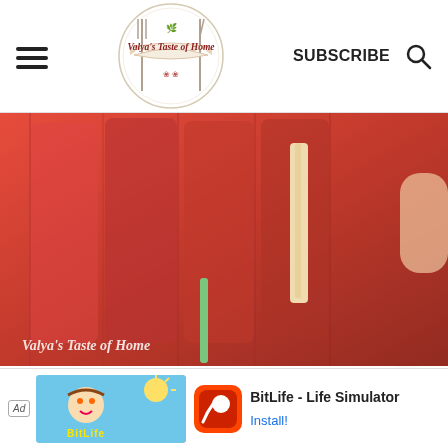Valya's Taste of Home — SUBSCRIBE
[Figure (photo): Close-up of red frozen popsicles/ice lollies in a mold with wooden sticks, watermark reads 'Valya's Taste of Home']
[Figure (infographic): Floating action buttons: upvote chevron button, count 396, heart/favorite button, red search button]
[Figure (infographic): Advertisement banner: Ad label, BitLife cartoon character graphic, BitLife app icon, text 'BitLife - Life Simulator', Install! link]